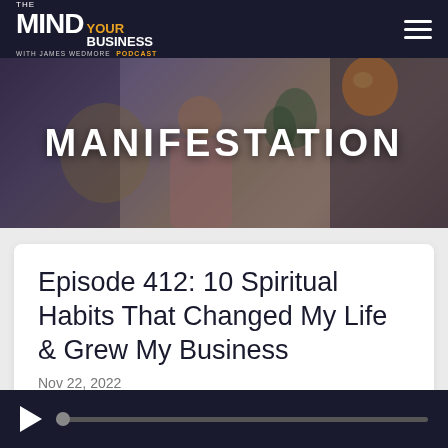THE MIND YOUR BUSINESS WITH JAMES WEDMORE PODCAST
[Figure (photo): Hero photo of a man smiling/laughing in a floral shirt, with a decorative fan and plant in background, orange balloon top right. Overlay text reads MANIFESTATION.]
MANIFESTATION
Episode 412: 10 Spiritual Habits That Changed My Life & Grew My Business
Nov 22, 2022
Audio player controls